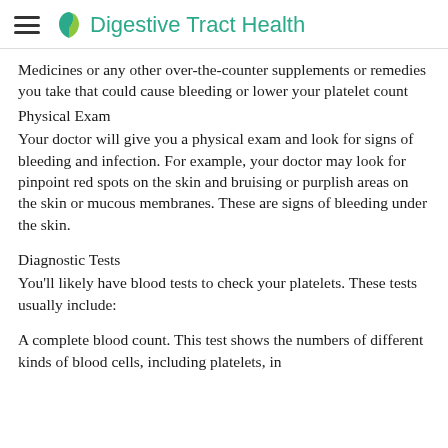Digestive Tract Health
Medicines or any other over-the-counter supplements or remedies you take that could cause bleeding or lower your platelet count
Physical Exam
Your doctor will give you a physical exam and look for signs of bleeding and infection. For example, your doctor may look for pinpoint red spots on the skin and bruising or purplish areas on the skin or mucous membranes. These are signs of bleeding under the skin.
Diagnostic Tests
You'll likely have blood tests to check your platelets. These tests usually include:
A complete blood count. This test shows the numbers of different kinds of blood cells, including platelets, in